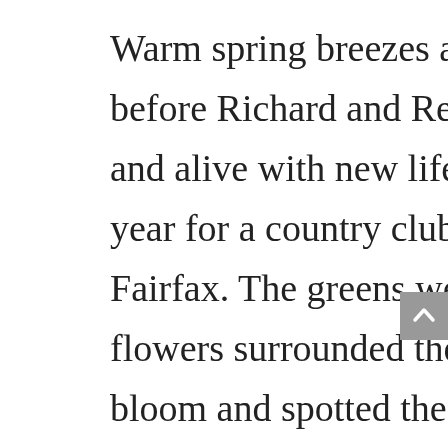Warm spring breezes arrived just in time to help buds bloom before Richard and Rebecca's big day. Everything was fresh and alive with new life and color. It was the perfect time of year for a country club wedding at the Country Club of Fairfax. The greens were a brilliant green and freshly planted flowers surrounded the club. The cherry trees were in full bloom and spotted the greens with glorious expanses of pink. One of my favorite portraits of Richard and Rebecca was them lying in the grass under a cherry tree surrounded by pink petals. It looked like it was straight out of a fairytale.
The ceremony and reception had moments of acapella music from their college group and Richard even sang a solo for Rebecca during the reception. What bride wouldn't melt at just the thought of her groom serenading her? Bouquets were a beautiful spring mix of blooms and the cake was a light lime stone with lemon flowers, beautiful...